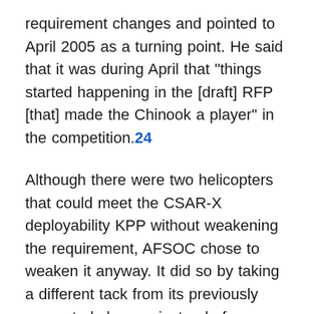requirement changes and pointed to April 2005 as a turning point. He said that it was during April that "things started happening in the [draft] RFP [that] made the Chinook a player" in the competition.24
Although there were two helicopters that could meet the CSAR-X deployability KPP without weakening the requirement, AFSOC chose to weaken it anyway. It did so by taking a different tack from its previously requested change: instead of extending the length of time allowed to get the CSAR vehicle "mission ready," AFSOC changed